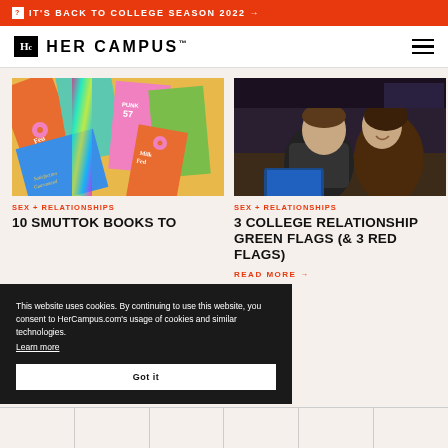IT'S BACK TO COLLEGE SEASON 2022 →
[Figure (logo): Her Campus logo with Hc monogram in black box and HER CAMPUS text]
[Figure (photo): Colorful book covers including Milk Fed and other titles arranged in a flat lay]
SEX + RELATIONSHIPS
10 SMUTTOK BOOKS TO
[Figure (photo): Young couple sitting together looking at a laptop screen in a dark room, smiling]
SEX + RELATIONSHIPS
3 COLLEGE RELATIONSHIP GREEN FLAGS (& 3 RED FLAGS)
READ MORE →
This website uses cookies. By continuing to use this website, you consent to HerCampus.com's usage of cookies and similar technologies. Learn more
Got it